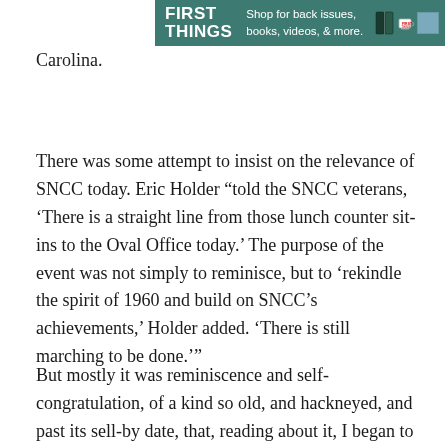[Figure (other): First Things advertisement banner: teal/green background with 'FIRST THINGS' logo in white bold text on left, 'Shop for back issues, books, videos, & more.' in white text in center, and images of books and a mug on the right.]
Carolina.
There was some attempt to insist on the relevance of SNCC today. Eric Holder “told the SNCC veterans, ‘There is a straight line from those lunch counter sit-ins to the Oval Office today.’ The purpose of the event was not simply to reminisce, but to ‘rekindle the spirit of 1960 and build on SNCC’s achievements,’ Holder added. ‘There is still marching to be done.’”
But mostly it was reminiscence and self-congratulation, of a kind so old, and hackneyed, and past its sell-by date, that, reading about it, I began to